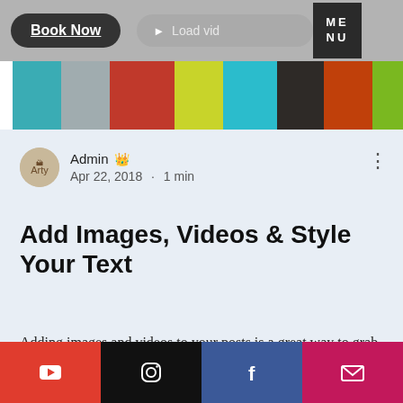[Figure (screenshot): Website navigation bar with 'Book Now' button, video load button, and MENU button]
[Figure (illustration): Decorative color stripe bar with vertical bands of teal, gray, red, yellow-green, teal, dark brown, orange-red, and green]
Admin 👑
Apr 22, 2018 · 1 min
Add Images, Videos & Style Your Text
Adding images and videos to your posts is a great way to grab readers' attention. Writing a text post? You can style it too with bold, italics, quotes & more! Looking for fresh design options? Then we've got you covered. Make each post look exactly the way you want by
[Figure (screenshot): Social media footer bar with YouTube, Instagram, Facebook, and Email icons]